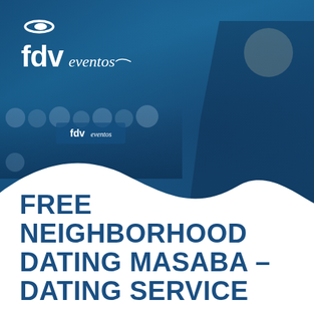[Figure (photo): Conference/event scene with a blonde female speaker holding a microphone on the right, facing an audience seated on the left, inside a modern building. The entire image has a deep blue tint/overlay. The fdv eventos logo appears in the upper left corner in white.]
FREE NEIGHBORHOOD DATING MASABA – DATING SERVICE